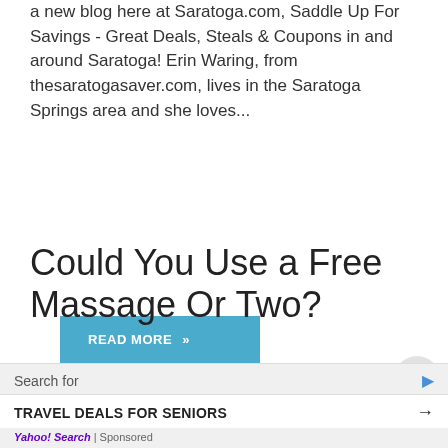a new blog here at Saratoga.com, Saddle Up For Savings - Great Deals, Steals & Coupons in and around Saratoga! Erin Waring, from thesaratogasaver.com, lives in the Saratoga Springs area and she loves...
READ MORE »
Could You Use a Free Massage Or Two?
FAITH MANNIX / JUNE 25, 2012
[Figure (other): Image showing WIN a Massage text in red bold letters]
Search for TRAVEL DEALS FOR SENIORS Yahoo! Search | Sponsored